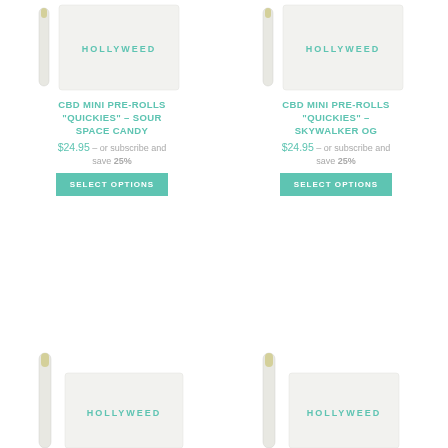[Figure (photo): Hollyweed CBD mini pre-rolls product package, white box with teal HOLLYWEED logo, with pre-roll tube beside it (top-left product)]
CBD MINI PRE-ROLLS "QUICKIES" – SOUR SPACE CANDY
$24.95 – or subscribe and save 25%
SELECT OPTIONS
[Figure (photo): Hollyweed CBD mini pre-rolls product package, white box with teal HOLLYWEED logo, with pre-roll tube beside it (top-right product)]
CBD MINI PRE-ROLLS "QUICKIES" – SKYWALKER OG
$24.95 – or subscribe and save 25%
SELECT OPTIONS
[Figure (photo): Hollyweed CBD mini pre-rolls product package, white box with teal HOLLYWEED logo, with pre-roll tube beside it (bottom-left product, partially visible)]
[Figure (photo): Hollyweed CBD mini pre-rolls product package, white box with teal HOLLYWEED logo, with pre-roll tube beside it (bottom-right product, partially visible)]